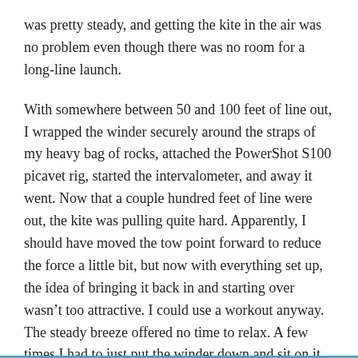was pretty steady, and getting the kite in the air was no problem even though there was no room for a long-line launch.
With somewhere between 50 and 100 feet of line out, I wrapped the winder securely around the straps of my heavy bag of rocks, attached the PowerShot S100 picavet rig, started the intervalometer, and away it went. Now that a couple hundred feet of line were out, the kite was pulling quite hard. Apparently, I should have moved the tow point forward to reduce the force a little bit, but now with everything set up, the idea of bringing it back in and starting over wasn't too attractive. I could use a workout anyway. The steady breeze offered no time to relax. A few times I had to just put the winder down and sit on it for a few minutes to give my arms a break.